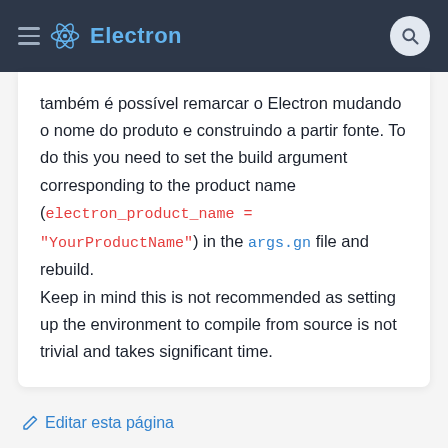Electron
também é possível remarcar o Electron mudando o nome do produto e construindo a partir fonte. To do this you need to set the build argument corresponding to the product name (electron_product_name = "YourProductName") in the args.gn file and rebuild.
Keep in mind this is not recommended as setting up the environment to compile from source is not trivial and takes significant time.
Editar esta página